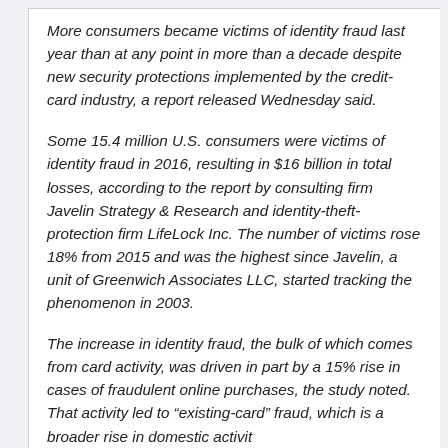More consumers became victims of identity fraud last year than at any point in more than a decade despite new security protections implemented by the credit-card industry, a report released Wednesday said.
Some 15.4 million U.S. consumers were victims of identity fraud in 2016, resulting in $16 billion in total losses, according to the report by consulting firm Javelin Strategy & Research and identity-theft-protection firm LifeLock Inc. The number of victims rose 18% from 2015 and was the highest since Javelin, a unit of Greenwich Associates LLC, started tracking the phenomenon in 2003.
The increase in identity fraud, the bulk of which comes from card activity, was driven in part by a 15% rise in cases of fraudulent online purchases, the study noted. That activity led to “existing-card” fraud, which is a broader rise in domestic activity